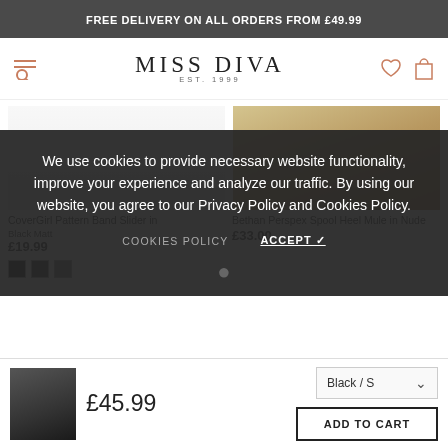FREE DELIVERY ON ALL ORDERS FROM £49.99
[Figure (logo): Miss Diva logo with EST. 1999, navigation icons including hamburger menu, search, heart, and shopping bag]
[Figure (photo): CoverGirl Pattern Band Slider shoe product image on white background]
[Figure (photo): Bethan Perspex Spool Heel Mule in Nude product image showing gold heeled sandal]
CoverGirl Pattern Band Slider in
Bethan Perspex Spool Heel Mule in Nude
Black Matt
£19.99
£33.00
We use cookies to provide necessary website functionality, improve your experience and analyze our traffic. By using our website, you agree to our Privacy Policy and Cookies Policy.
COOKIES POLICY
ACCEPT ✓
[Figure (photo): Small product thumbnail showing woman in black outfit]
£45.99
Black / S
ADD TO CART